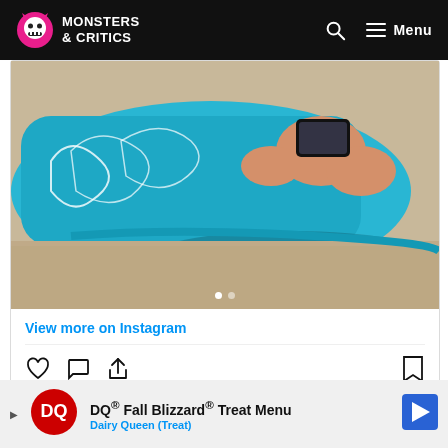Monsters & Critics
[Figure (photo): Person lying on a blue inflatable pool float/raft on sand, taking a selfie, wearing a bikini, viewed from below]
View more on Instagram
[Figure (infographic): Instagram action icons: heart (like), speech bubble (comment), share arrow, bookmark]
6,635 likes
ginakirschenheiter
[Figure (infographic): Dairy Queen advertisement: DQ® Fall Blizzard® Treat Menu - Dairy Queen (Treat)]